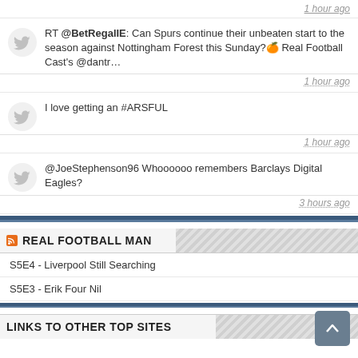1 hour ago
RT @BetRegalIE: Can Spurs continue their unbeaten start to the season against Nottingham Forest this Sunday?🍊 Real Football Cast's @dantr…
1 hour ago
I love getting an #ARSFUL
1 hour ago
@JoeStephenson96 Whoooooo remembers Barclays Digital Eagles?
3 hours ago
REAL FOOTBALL MAN
S5E4 - Liverpool Still Searching
S5E3 - Erik Four Nil
LINKS TO OTHER TOP SITES